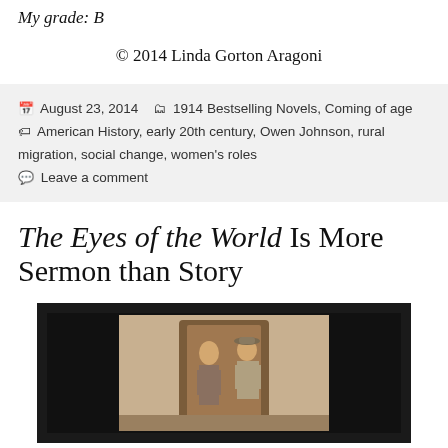My grade: B
© 2014 Linda Gorton Aragoni
August 23, 2014   1914 Bestselling Novels, Coming of age   American History, early 20th century, Owen Johnson, rural migration, social change, women's roles   Leave a comment
The Eyes of the World Is More Sermon than Story
[Figure (illustration): Book cover illustration showing two figures, a woman and a man wearing a cap, standing near a doorway. Dark framed image with sepia/watercolor tones.]